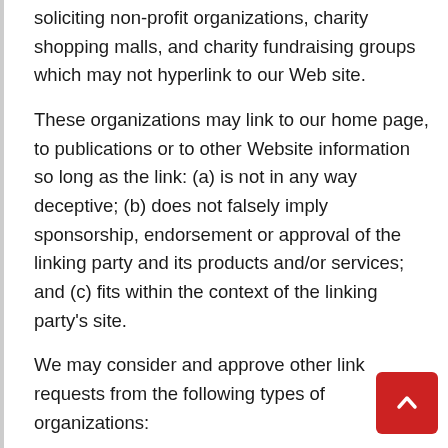soliciting non-profit organizations, charity shopping malls, and charity fundraising groups which may not hyperlink to our Web site.
These organizations may link to our home page, to publications or to other Website information so long as the link: (a) is not in any way deceptive; (b) does not falsely imply sponsorship, endorsement or approval of the linking party and its products and/or services; and (c) fits within the context of the linking party's site.
We may consider and approve other link requests from the following types of organizations:
commonly-known consumer and/or business information sources;